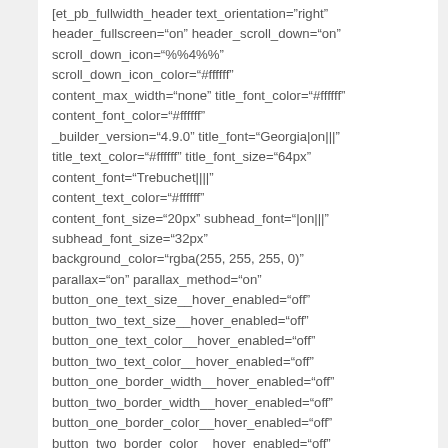[et_pb_fullwidth_header text_orientation="right" header_fullscreen="on" header_scroll_down="on" scroll_down_icon="%%4%%" scroll_down_icon_color="#ffffff" content_max_width="none" title_font_color="#ffffff" content_font_color="#ffffff" _builder_version="4.9.0" title_font="Georgia|on|||" title_text_color="#ffffff" title_font_size="64px" content_font="Trebuchet||||" content_text_color="#ffffff" content_font_size="20px" subhead_font="|on|||" subhead_font_size="32px" background_color="rgba(255, 255, 255, 0)" parallax="on" parallax_method="on" button_one_text_size__hover_enabled="off" button_two_text_size__hover_enabled="off" button_one_text_color__hover_enabled="off" button_two_text_color__hover_enabled="off" button_one_border_width__hover_enabled="off" button_two_border_width__hover_enabled="off" button_one_border_color__hover_enabled="off" button_two_border_color__hover_enabled="off"